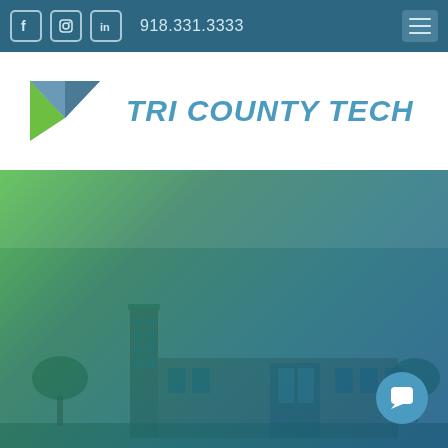918.331.3333
TRI COUNTY TECH
[Figure (photo): Exterior photo of Tri County Tech building with green-to-blue gradient overlay. A modern brick building with glass entrance is visible in the lower portion of the image against a blue sky backdrop.]